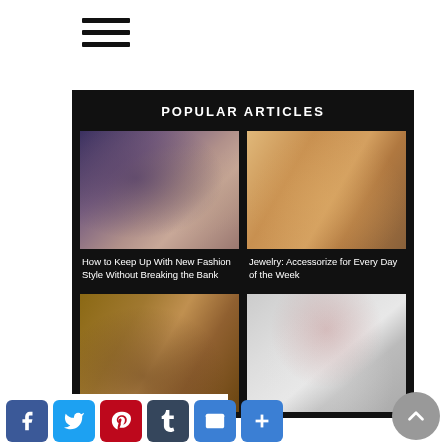[Figure (other): Hamburger menu icon with three horizontal lines]
POPULAR ARTICLES
[Figure (photo): Two fashion women posing together in dark clothing]
How to Keep Up With New Fashion Style Without Breaking the Bank
[Figure (photo): Blonde woman lying down with jewelry/accessories]
Jewelry: Accessorize for Every Day of the Week
[Figure (photo): Leather boots on wooden surface]
[Figure (photo): Woman in white blazer with dark red hair]
[Figure (other): Social share bar with Facebook, Twitter, Pinterest, Tumblr, Email, and Share buttons]
[Figure (other): Back to top button (circular grey arrow)]